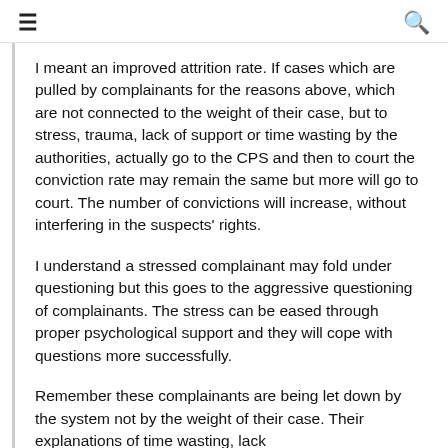≡  🔍
I meant an improved attrition rate. If cases which are pulled by complainants for the reasons above, which are not connected to the weight of their case, but to stress, trauma, lack of support or time wasting by the authorities, actually go to the CPS and then to court the conviction rate may remain the same but more will go to court. The number of convictions will increase, without interfering in the suspects' rights.
I understand a stressed complainant may fold under questioning but this goes to the aggressive questioning of complainants. The stress can be eased through proper psychological support and they will cope with questions more successfully.
Remember these complainants are being let down by the system not by the weight of their case. Their explanations of time wasting, lack